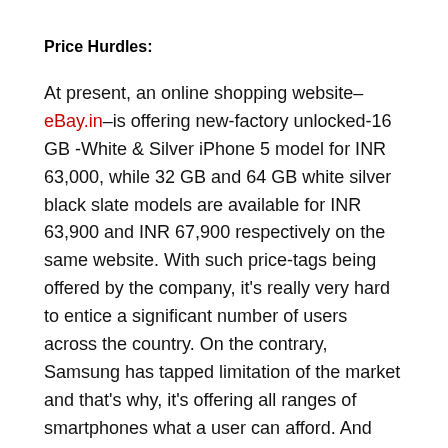Price Hurdles:
At present, an online shopping website–eBay.in–is offering new-factory unlocked-16 GB -White & Silver iPhone 5 model for INR 63,000, while 32 GB and 64 GB white silver black slate models are available for INR 63,900 and INR 67,900 respectively on the same website. With such price-tags being offered by the company, it's really very hard to entice a significant number of users across the country. On the contrary, Samsung has tapped limitation of the market and that's why, it's offering all ranges of smartphones what a user can afford. And this is the main reason why Samsung has...